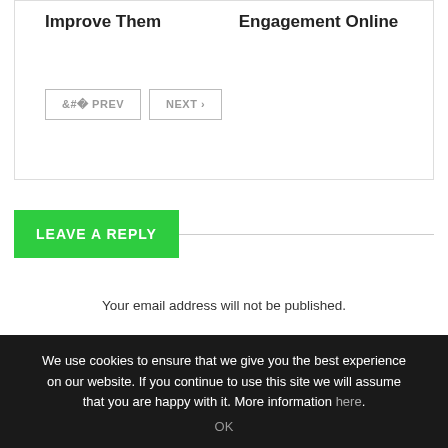Improve Them
Engagement Online
< PREV   NEXT >
LEAVE A REPLY
Your email address will not be published.
Your Comment
We use cookies to ensure that we give you the best experience on our website. If you continue to use this site we will assume that you are happy with it. More information here.
OK